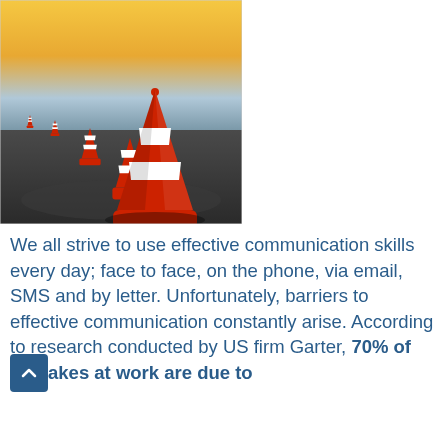[Figure (photo): Photo of red and white traffic cones lined up on a road at sunset/dusk, with one large cone in the foreground and several smaller ones receding into the background.]
We all strive to use effective communication skills every day; face to face, on the phone, via email, SMS and by letter. Unfortunately, barriers to effective communication constantly arise. According to research conducted by US firm Garter, 70% of mistakes at work are due to